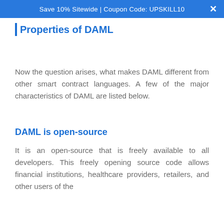Save 10% Sitewide | Coupon Code: UPSKILL10
Properties of DAML
Now the question arises, what makes DAML different from other smart contract languages. A few of the major characteristics of DAML are listed below.
DAML is open-source
It is an open-source that is freely available to all developers. This freely opening source code allows financial institutions, healthcare providers, retailers, and other users of the